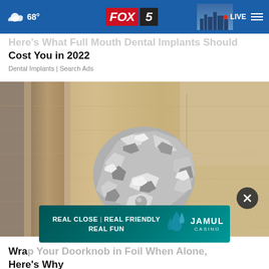68° FOX 5 LIVE
Here's What Full Mouth Dental Implants Should Cost You in 2022
Dental Implants | Search Ads
[Figure (photo): A door knob wrapped in aluminum foil on a wooden door]
[Figure (other): Advertisement banner: REAL CLOSE | REAL FRIENDLY REAL FUN — JAMUL CASINO]
Wrap Your Doorknob in Foil When Alone, Here's Why